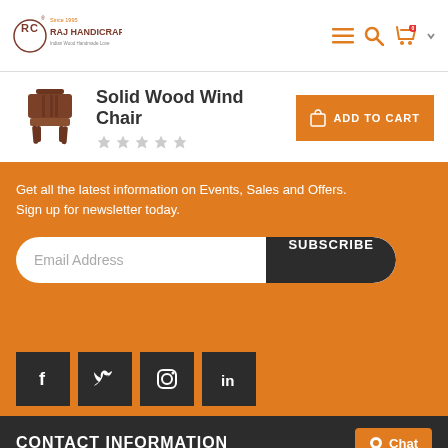Raj Handicraft — navigation header with logo, menu, search, cart icons
Solid Wood Wind Chair
[Figure (photo): Thumbnail image of a wooden wind chair, dark brown color]
Get all the latest information on Events, Sales and Offers. Sign up for newsletter today.
Email Address  SUBSCRIBE
[Figure (infographic): Social media icons: Facebook, Twitter, Instagram, LinkedIn]
CONTACT INFORMATION
Chat